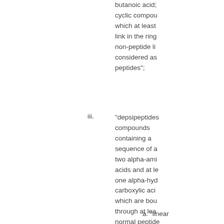butanoic acid; cyclic compounds in which at least one link in the ring is a non-peptide link, considered as peptides;
iii. "depsipeptides": compounds containing a sequence of at least two alpha-amino acids and at least one alpha-hydroxy carboxylic acid, which are bound through at least normal peptide and ester links derived from the hydroxy carboxylic acids, where:
a. "linear